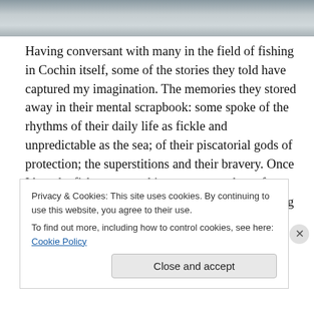[Figure (photo): Grayscale photo strip at top, showing water or sea surface in muted tones]
Having conversant with many in the field of fishing in Cochin itself, some of the stories they told have captured my imagination. The memories they stored away in their mental scrapbook: some spoke of the rhythms of their daily life as fickle and unpredictable as the sea; of their piscatorial gods of protection; the superstitions and their bravery. Once I heard a fisherman cooking up an anecdote of having seen a 'stunner' whale (Thimingalam) as big as the Venduruthy Bridge of Cochin (around 635 mtr): one
Privacy & Cookies: This site uses cookies. By continuing to use this website, you agree to their use.
To find out more, including how to control cookies, see here: Cookie Policy